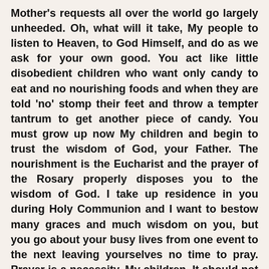Mother's requests all over the world go largely unheeded. Oh, what will it take, My people to listen to Heaven, to God Himself, and do as we ask for your own good. You act like little disobedient children who want only candy to eat and no nourishing foods and when they are told 'no' stomp their feet and throw a tempter tantrum to get another piece of candy. You must grow up now My children and begin to trust the wisdom of God, your Father. The nourishment is the Eucharist and the prayer of the Rosary properly disposes you to the wisdom of God. I take up residence in you during Holy Communion and I want to bestow many graces and much wisdom on you, but you go about your busy lives from one event to the next leaving yourselves no time to pray. Prayer is a necessity, My children. It should not be an afterthought, but rather the first thing you do in the morning and the last thing you do in the evening before retiring to bed. It is not too much to ask of you MY children, to